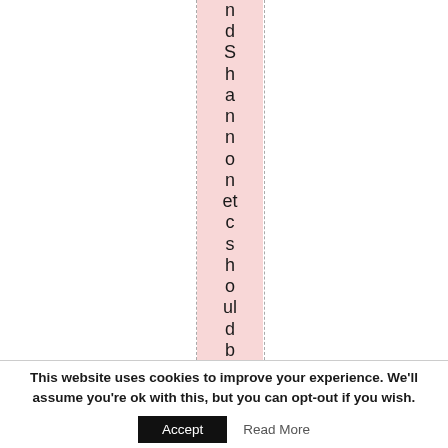ndShannononetcshouldbeSSpokes
This website uses cookies to improve your experience. We'll assume you're ok with this, but you can opt-out if you wish.
Accept
Read More